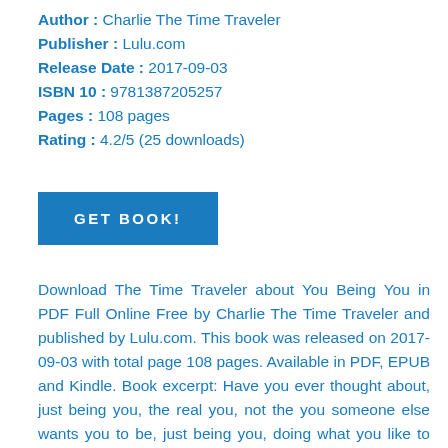Author : Charlie The Time Traveler
Publisher : Lulu.com
Release Date : 2017-09-03
ISBN 10 : 9781387205257
Pages : 108 pages
Rating : 4.2/5 (25 downloads)
[Figure (other): GET BOOK! button - blue rectangular button with white uppercase text]
Download The Time Traveler about You Being You in PDF Full Online Free by Charlie The Time Traveler and published by Lulu.com. This book was released on 2017-09-03 with total page 108 pages. Available in PDF, EPUB and Kindle. Book excerpt: Have you ever thought about, just being you, the real you, not the you someone else wants you to be, just being you, doing what you like to do, being the you, you want to be. Every subject in this writing is covered as a story by a ""Common Sense"" point of view, of How...